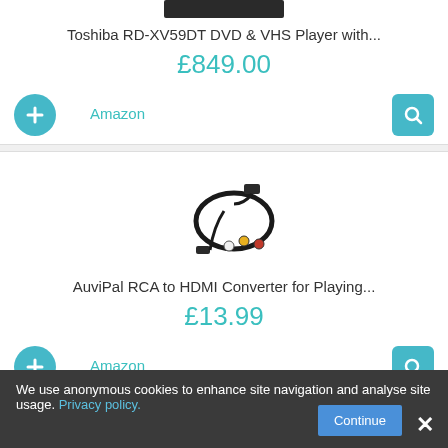[Figure (photo): Partial bottom of a Toshiba RD-XV59DT DVD & VHS Player device, cropped at top]
Toshiba RD-XV59DT DVD & VHS Player with...
£849.00
Amazon
[Figure (photo): AuviPal RCA to HDMI converter cable coiled on white background]
AuviPal RCA to HDMI Converter for Playing...
£13.99
Amazon
We use anonymous cookies to enhance site navigation and analyse site usage. Privacy policy.